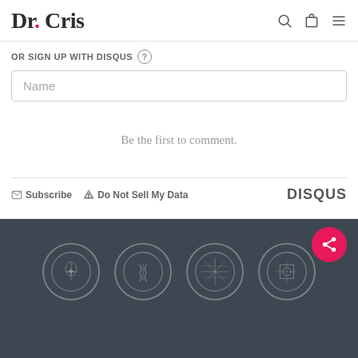Dr. Cris
OR SIGN UP WITH DISQUS (?)
Name
Be the first to comment.
Subscribe  Do Not Sell My Data  DISQUS
[Figure (logo): Four circular badge logos in dark footer area]